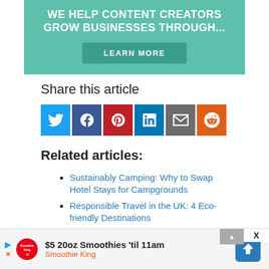[Figure (infographic): Teal/green advertisement banner reading 'WE HELP CONTENT CREATORS GROW BUSINESSES THROUGH...' with a 'LEARN MORE' button]
Share this article
[Figure (infographic): Row of social media share buttons: Twitter (blue), Facebook (dark blue), Pinterest (red), LinkedIn (blue), Email (gray), Reddit (orange)]
Related articles:
Sustainably Camping: Why to Swap Hotel Stays for Campgrounds
Responsible Travel in the UK: 4 Eco-friendly Destinations
8 Simple Yet Effective Tips For Sustainably... (partial)
[Figure (infographic): Bottom advertisement bar: Smoothie King - $5 20oz Smoothies 'til 11am with navigation icon and close button]